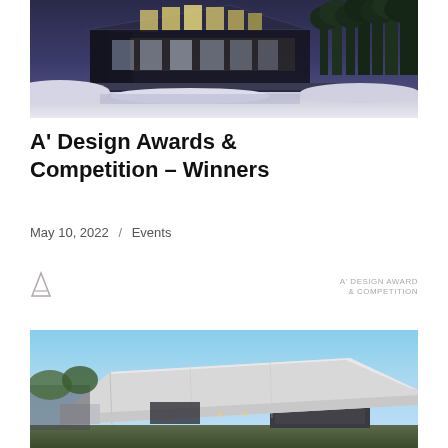[Figure (photo): Architectural photo of a modern house at dusk with glass roof and lit interior, surrounded by snowy landscape and trees]
A' Design Awards & Competition – Winners
May 10, 2022 / Events
[Figure (logo): A' Design Award & Competition logo — triangle icon on left, text 'A' DESIGN AWARD & COMPETITION' on right in light grey]
[Figure (photo): Architectural photo of a modern angular building with sweeping white roof canopy at dusk against a blue sky]